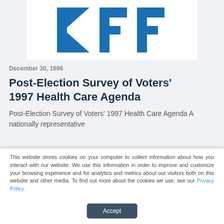[Figure (logo): KFF logo — large blue letters 'KFF' on white background]
December 30, 1996
Post-Election Survey of Voters' 1997 Health Care Agenda
Post-Election Survey of Voters' 1997 Health Care Agenda A nationally representative
This website stores cookies on your computer to collect information about how you interact with our website. We use this information in order to improve and customize your browsing experience and for analytics and metrics about our visitors both on this website and other media. To find out more about the cookies we use, see our Privacy Policy.